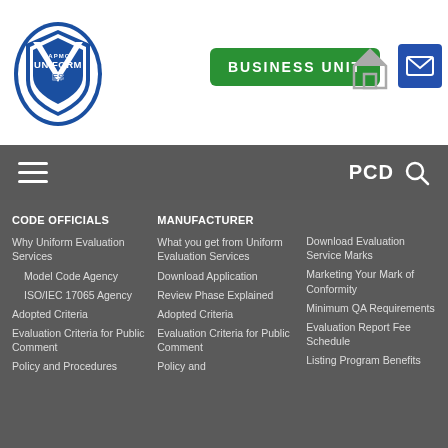[Figure (logo): IAPMO Uniform ES logo — shield shape with blue oval border and UNIFORM ES text]
BUSINESS UNIT
[Figure (illustration): Home icon]
[Figure (illustration): Mail/envelope icon in blue box]
[Figure (illustration): Hamburger menu icon (three horizontal lines)]
PCD
[Figure (illustration): Search/magnifying glass icon]
CODE OFFICIALS
Why Uniform Evaluation Services
Model Code Agency
ISO/IEC 17065 Agency
Adopted Criteria
Evaluation Criteria for Public Comment
Policy and Procedures
MANUFACTURER
What you get from Uniform Evaluation Services
Download Application
Review Phase Explained
Adopted Criteria
Evaluation Criteria for Public Comment
Policy and
Download Evaluation Service Marks
Marketing Your Mark of Conformity
Minimum QA Requirements
Evaluation Report Fee Schedule
Listing Program Benefits